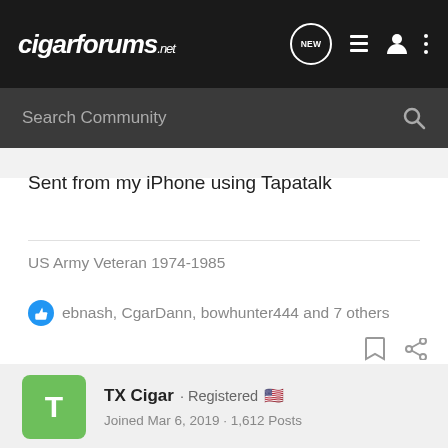cigarforums.net
Search Community
Sent from my iPhone using Tapatalk
US Army Veteran 1974-1985
ebnash, CgarDann, bowhunter444 and 7 others
TX Cigar · Registered  Joined Mar 6, 2019 · 1,612 Posts